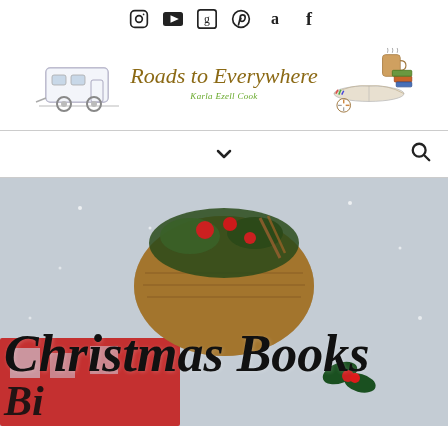Social icons: Instagram, YouTube, Goodreads, Pinterest, Amazon, Facebook
[Figure (logo): Roads to Everywhere blog logo with watercolor camper trailer on left, script title 'Roads to Everywhere' and author name 'Karla Ezell Cook' in center, watercolor books and coffee cup on right]
[Figure (other): Navigation bar with dropdown chevron indicator and search icon]
[Figure (photo): Hero image showing a rustic basket with Christmas decorations, berries and greenery on a quilt, with large bold italic text overlay reading 'Christmas Books' and partially visible text below]